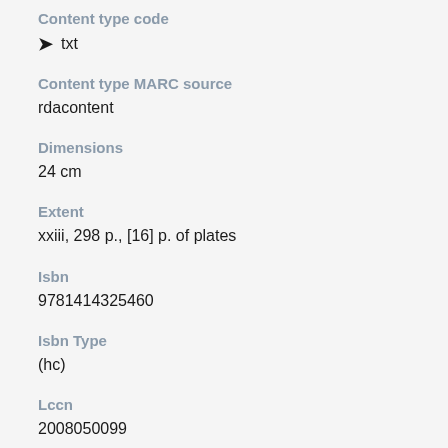Content type code
txt
Content type MARC source
rdacontent
Dimensions
24 cm
Extent
xxiii, 298 p., [16] p. of plates
Isbn
9781414325460
Isbn Type
(hc)
Lccn
2008050099
Media category
unmediated
Media MARC source
rdamedia